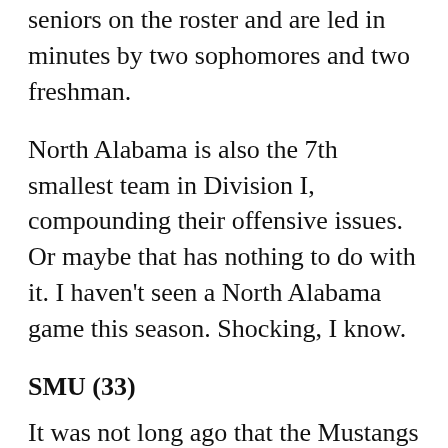seniors on the roster and are led in minutes by two sophomores and two freshman.
North Alabama is also the 7th smallest team in Division I, compounding their offensive issues. Or maybe that has nothing to do with it. I haven't seen a North Alabama game this season. Shocking, I know.
SMU (33)
It was not long ago that the Mustangs were a relevant program in the national landscape. SMU won 25+ games and was ranked in the AP Top 20 for four straight seasons earlier this decade, but has since leveled off into the middle of the pack in the American Athletic Conference.